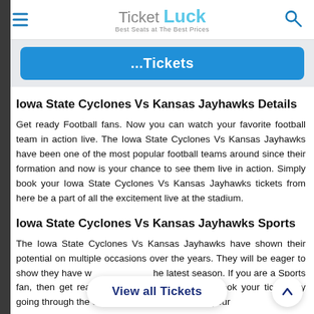Ticket Luck — Best Seats at The Best Prices
[Figure (screenshot): Blue ...Tickets button]
Iowa State Cyclones Vs Kansas Jayhawks Details
Get ready Football fans. Now you can watch your favorite football team in action live. The Iowa State Cyclones Vs Kansas Jayhawks have been one of the most popular football teams around since their formation and now is your chance to see them live in action. Simply book your Iowa State Cyclones Vs Kansas Jayhawks tickets from here be a part of all the excitement live at the stadium.
Iowa State Cyclones Vs Kansas Jayhawks Sports
The Iowa State Cyclones Vs Kansas Jayhawks have shown their potential on multiple occasions over the years. They will be eager to show they have what it takes in the latest season. If you are a Sports fan, then get ready for some thrilling action. Book your tickets by going through the complete schedule to watch your
[Figure (screenshot): View all Tickets button overlay at the bottom]